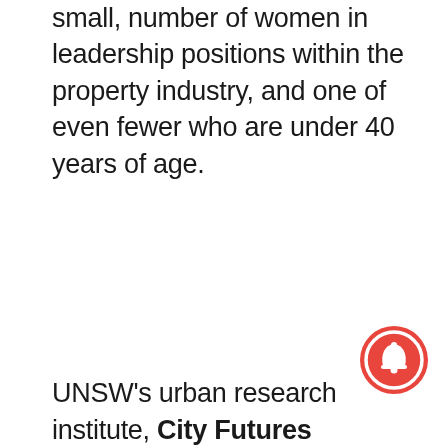small, number of women in leadership positions within the property industry, and one of even fewer who are under 40 years of age.
UNSW's urban research institute, City Futures